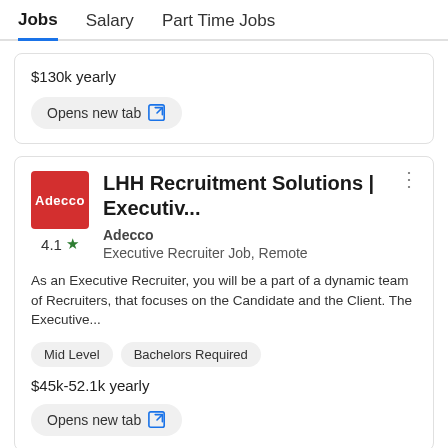Jobs  Salary  Part Time Jobs
$130k yearly
Opens new tab
LHH Recruitment Solutions | Executiv...
Adecco
Executive Recruiter Job, Remote
As an Executive Recruiter, you will be a part of a dynamic team of Recruiters, that focuses on the Candidate and the Client. The Executive...
Mid Level  Bachelors Required
$45k-52.1k yearly
Opens new tab